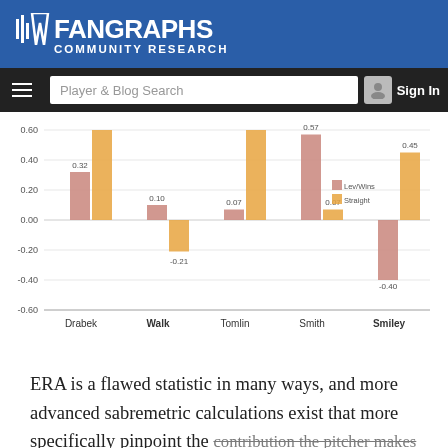FanGraphs Community Research
[Figure (grouped-bar-chart): ]
ERA is a flawed statistic in many ways, and more advanced sabremetric calculations exist that more specifically pinpoint the contribution the pitcher makes to his team during the course of a...